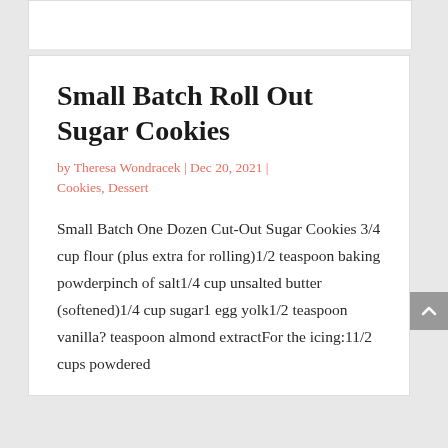Small Batch Roll Out Sugar Cookies
by Theresa Wondracek | Dec 20, 2021 | Cookies, Dessert
Small Batch One Dozen Cut-Out Sugar Cookies 3/4 cup flour (plus extra for rolling)1/2 teaspoon baking powderpinch of salt1/4 cup unsalted butter (softened)1/4 cup sugar1 egg yolk1/2 teaspoon vanilla? teaspoon almond extractFor the icing:11/2 cups powdered